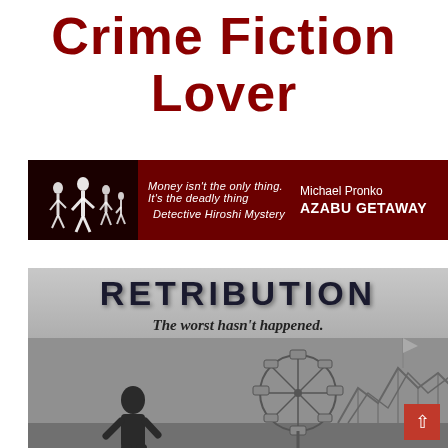Crime Fiction Lover
[Figure (illustration): Red banner advertisement for 'Azabu Getaway' by Michael Pronko, a Detective Hiroshi Mystery. Features silhouettes of people running on a dark background. Tagline: 'Money isn't the only thing. It's the deadly thing']
[Figure (illustration): Book cover for 'Retribution' showing partial title text at top, subtitle 'The worst hasn't happened. It's hardly begun.' A figure stands facing a Ferris wheel and roller coaster in a moody, overcast atmosphere. A red scroll button appears at bottom right.]